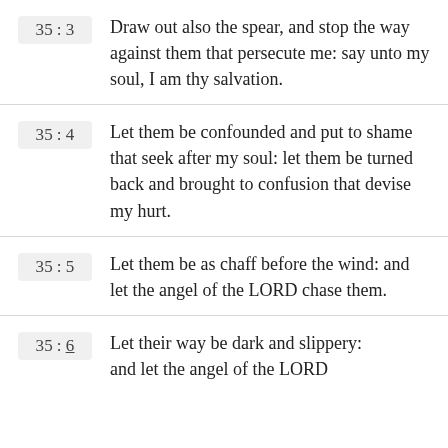35:3 Draw out also the spear, and stop the way against them that persecute me: say unto my soul, I am thy salvation.
35:4 Let them be confounded and put to shame that seek after my soul: let them be turned back and brought to confusion that devise my hurt.
35:5 Let them be as chaff before the wind: and let the angel of the LORD chase them.
35:6 Let their way be dark and slippery: and let the angel of the LORD…